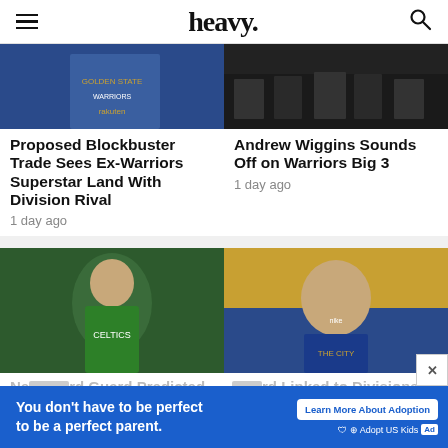heavy.
[Figure (photo): Basketball player in Golden State Warriors uniform]
[Figure (photo): Crowd of people at an event]
Proposed Blockbuster Trade Sees Ex-Warriors Superstar Land With Division Rival
1 day ago
Andrew Wiggins Sounds Off on Warriors Big 3
1 day ago
[Figure (photo): Basketball player in green Celtics jersey smiling]
[Figure (photo): Basketball player in Golden State Warriors city edition jersey]
Ne... Guard Predicted to
...rd Linked to Divisional